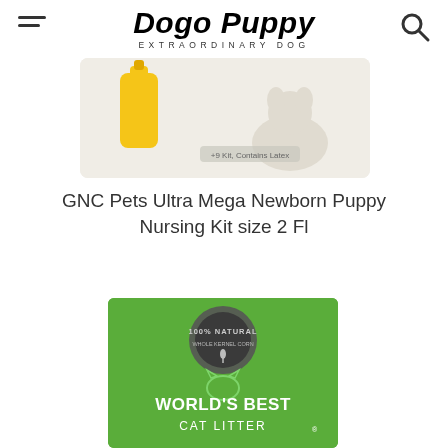Dogo Puppy EXTRAORDINARY DOG
[Figure (photo): GNC Pets Ultra Mega Newborn Puppy Nursing Kit product image showing a yellow bottle and a puppy on light background, labeled '+9 Kit, Contains Latex']
GNC Pets Ultra Mega Newborn Puppy Nursing Kit size 2 Fl
[Figure (photo): World's Best Cat Litter green bag with '100% Natural' seal badge and cat logo, text reads 'WORLD'S BEST CAT LITTER']